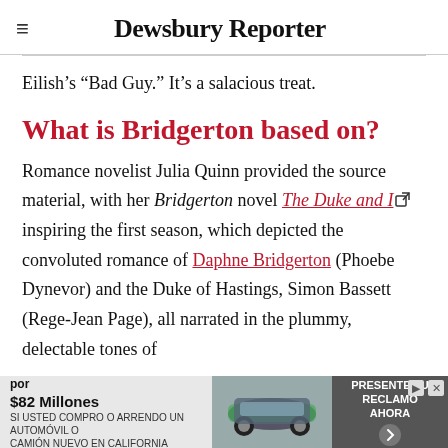Dewsbury Reporter
Eilish's “Bad Guy.” It’s a salacious treat.
What is Bridgerton based on?
Romance novelist Julia Quinn provided the source material, with her Bridgerton novel The Duke and I inspiring the first season, which depicted the convoluted romance of Daphne Bridgerton (Phoebe Dynevor) and the Duke of Hastings, Simon Bassett (Rege-Jean Page), all narrated in the plummy, delectable tones of mystery... a perfe...
[Figure (infographic): Advertisement banner: Acuerdo de la demanda colectiva por $82 Millones. SI USTED COMPRO O ARRENDO UN AUTOMOVIL O CAMION NUEVO EN CALIFORNIA DESDE 2001 A 2003. Car image. PRESENTE SU RECLAMO AHORA button.]